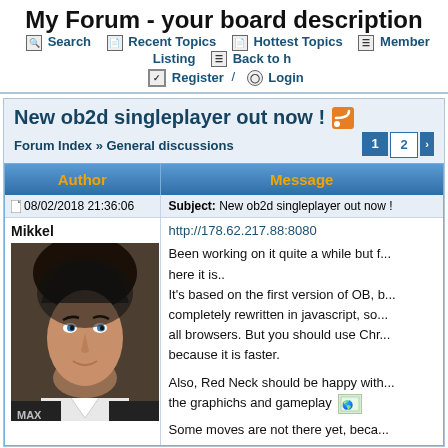My Forum - your board description
Search  Recent Topics  Hottest Topics  Member Listing  Back to h...  Register / Login
New ob2d singleplayer out now !
Forum Index » General discussions
| Author | Message |
| --- | --- |
| 08/02/2018 21:36:06 | Subject: New ob2d singleplayer out now ! |
| Mikkel
[photo] | http://178.62.217.88:8080

Been working on it quite a while but f... here it is..
It's based on the first version of OB, b... completely rewritten in javascript, so... all browsers. But you should use Chr... because it is faster.

Also, Red Neck should be happy with... the graphichs and gameplay

Some moves are not there yet, beca... |